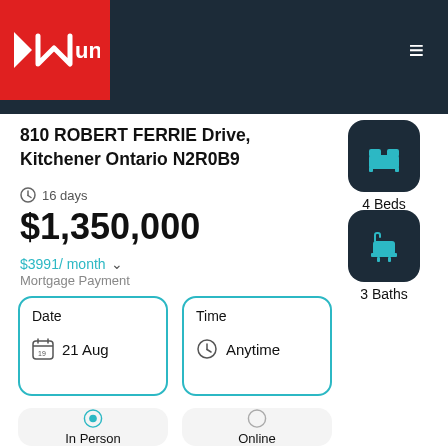Mundi
810 ROBERT FERRIE Drive, Kitchener Ontario N2R0B9
16 days
$1,350,000
$3991/ month
Mortgage Payment
4 Beds
3 Baths
Date
21 Aug
Time
Anytime
In Person
Online